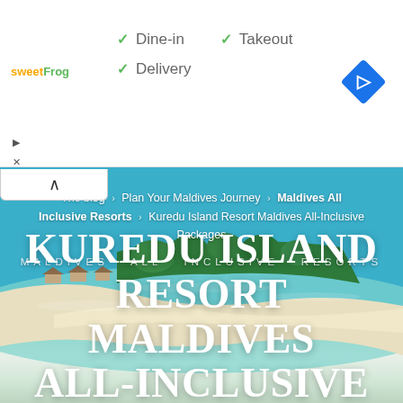[Figure (screenshot): Ad banner with sweetFrog logo, checkmarks for Dine-in, Takeout, Delivery, and a navigation diamond icon]
✓ Dine-in
✓ Takeout
✓ Delivery
The blog > Plan Your Maldives Journey > Maldives All Inclusive Resorts > Kuredu Island Resort Maldives All-Inclusive Packages
Maldives All Inclusive Resorts
KUREDU ISLAND RESORT MALDIVES ALL-INCLUSIVE PACKAGES
[Figure (photo): Aerial view of Maldives island resort with turquoise water, white sandy beach, overwater bungalows and tropical vegetation]